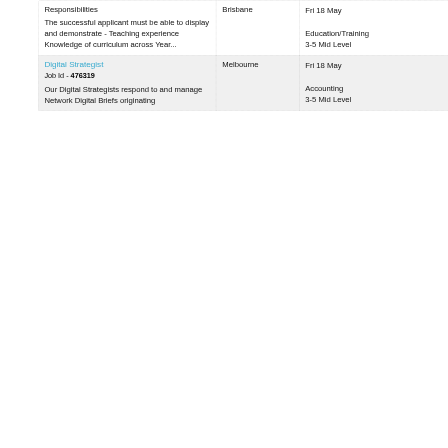| Description | Location | Meta |
| --- | --- | --- |
| Responsibilities
The successful applicant must be able to display and demonstrate - Teaching experience Knowledge of curriculum across Year... | Brisbane | Fri 18 May
Education/Training
3-5 Mid Level |
| Digital Strategist
Job Id - 476319
Our Digital Strategists respond to and manage Network Digital Briefs originating | Melbourne | Fri 18 May
Accounting
3-5 Mid Level |